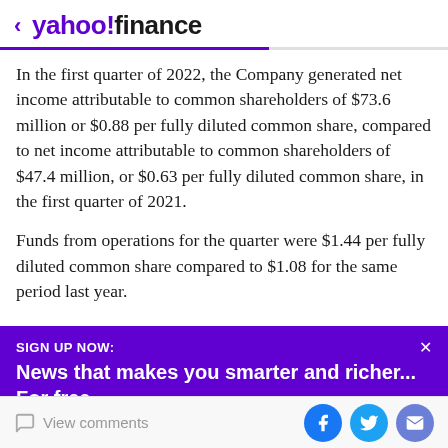< yahoo!finance
In the first quarter of 2022, the Company generated net income attributable to common shareholders of $73.6 million or $0.88 per fully diluted common share, compared to net income attributable to common shareholders of $47.4 million, or $0.63 per fully diluted common share, in the first quarter of 2021.
Funds from operations for the quarter were $1.44 per fully diluted common share compared to $1.08 for the same period last year.
SIGN UP NOW:
News that makes you smarter and richer... For free.
View comments